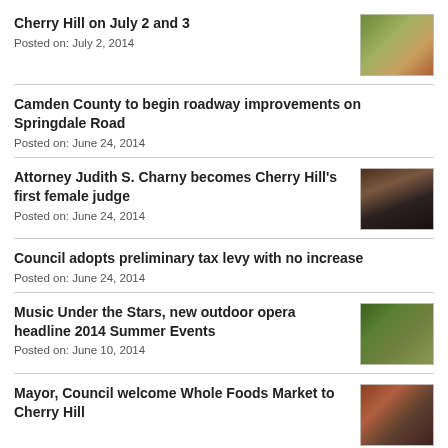Cherry Hill on July 2 and 3
Posted on: July 2, 2014
Camden County to begin roadway improvements on Springdale Road
Posted on: June 24, 2014
Attorney Judith S. Charny becomes Cherry Hill's first female judge
Posted on: June 24, 2014
Council adopts preliminary tax levy with no increase
Posted on: June 24, 2014
Music Under the Stars, new outdoor opera headline 2014 Summer Events
Posted on: June 10, 2014
Mayor, Council welcome Whole Foods Market to Cherry Hill